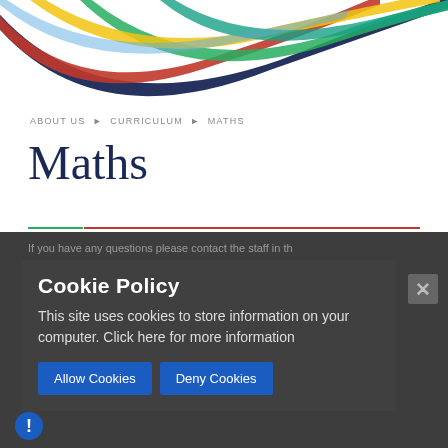[Figure (illustration): Colorful curved banner arcs in red, dark blue, green, yellow, teal, and light blue across the top of the page]
ABOUT US ▶ CURRICULUM ▶ MATHS
Maths
If you have any questions please contact the staff in the maths department.
Head of Mathematics: Responsibilities: (and) Click the ... important Maths
sources. You will be able to find school choices. please
Cookie Policy
This site uses cookies to store information on your computer. Click here for more information
Allow Cookies   Deny Cookies